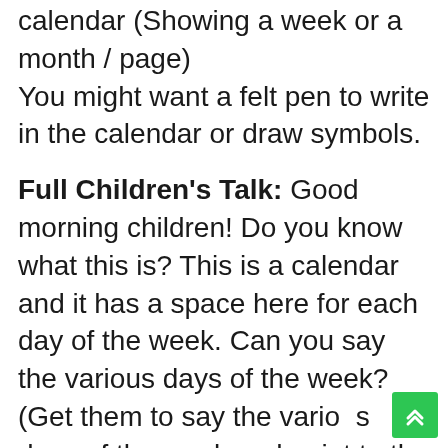Object lesson item: A large paper calendar (Showing a week or a month / page) You might want a felt pen to write in the calendar or draw symbols.
Full Children's Talk: Good morning children! Do you know what this is? This is a calendar and it has a space here for each day of the week. Can you say the various days of the week? (Get them to say the various days of the week and point to the